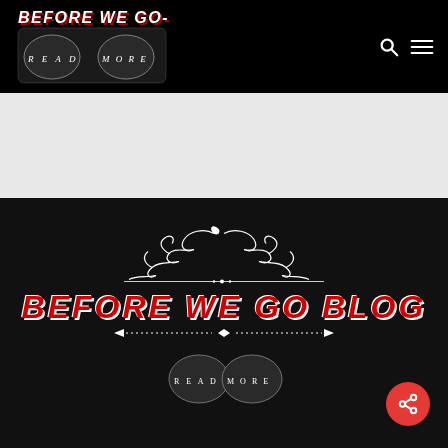BEFORE WE GO BLOG
[Figure (logo): Before We Go Blog logo with fists tattoo illustration showing READ MORE on knuckles, black background with white text and red shadow]
[Figure (illustration): Grey/white advertisement banner area]
[Figure (logo): Before We Go Blog large centered logo on black background with decorative ornamental flourish above, red italic bold text, and fist tattoo illustration below, plus a dotted arrow divider line]